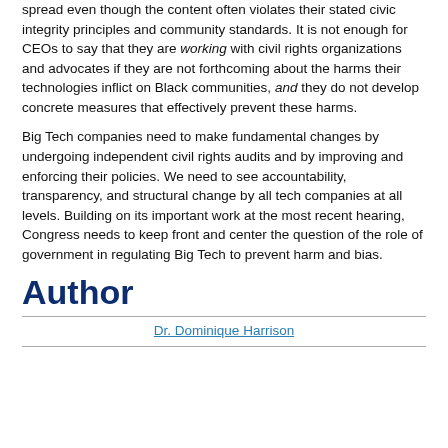spread even though the content often violates their stated civic integrity principles and community standards. It is not enough for CEOs to say that they are working with civil rights organizations and advocates if they are not forthcoming about the harms their technologies inflict on Black communities, and they do not develop concrete measures that effectively prevent these harms.
Big Tech companies need to make fundamental changes by undergoing independent civil rights audits and by improving and enforcing their policies. We need to see accountability, transparency, and structural change by all tech companies at all levels. Building on its important work at the most recent hearing, Congress needs to keep front and center the question of the role of government in regulating Big Tech to prevent harm and bias.
Author
Dr. Dominique Harrison